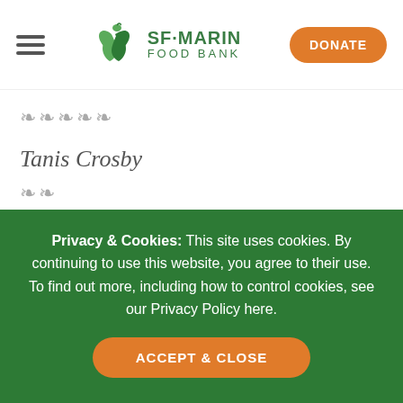SF-MARIN FOOD BANK | DONATE
░░░░░
Tanis Crosby
░░
░░░░░░░░░░░░░░░░░░░░░░stopaapihate.org░░░░
Privacy & Cookies: This site uses cookies. By continuing to use this website, you agree to their use. To find out more, including how to control cookies, see our Privacy Policy here.
ACCEPT & CLOSE